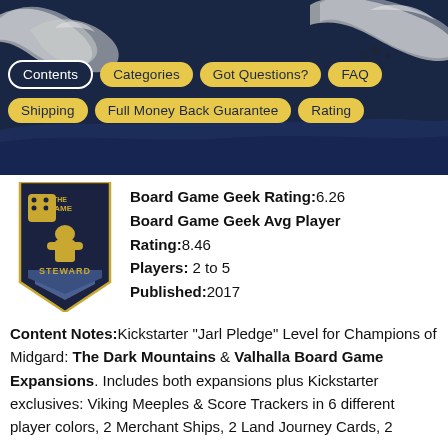[Figure (infographic): Dark navy banner with ocean wave illustration and navigation buttons: Contents (active/dark), Categories, Got Questions?, FAQ, Shipping, Full Money Back Guarantee, Rating]
[Figure (logo): The Game Steward logo - dark pennant/shield with meeple figure and dice]
Board Game Geek Rating:6.26
Board Game Geek Avg Player Rating:8.46
Players: 2 to 5
Published:2017
Content Notes:Kickstarter "Jarl Pledge" Level for Champions of Midgard: The Dark Mountains & Valhalla Board Game Expansions. Includes both expansions plus Kickstarter exclusives: Viking Meeples & Score Trackers in 6 different player colors, 2 Merchant Ships, 2 Land Journey Cards, 2 Sea Resource Cards, and 2 Billboard Player Boards.